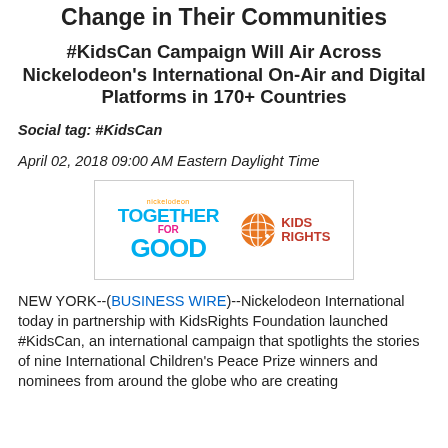Change in Their Communities
#KidsCan Campaign Will Air Across Nickelodeon's International On-Air and Digital Platforms in 170+ Countries
Social tag: #KidsCan
April 02, 2018 09:00 AM Eastern Daylight Time
[Figure (logo): Nickelodeon Together for Good logo alongside KidsRights Foundation logo]
NEW YORK--(BUSINESS WIRE)--Nickelodeon International today in partnership with KidsRights Foundation launched #KidsCan, an international campaign that spotlights the stories of nine International Children's Peace Prize winners and nominees from around the globe who are creating